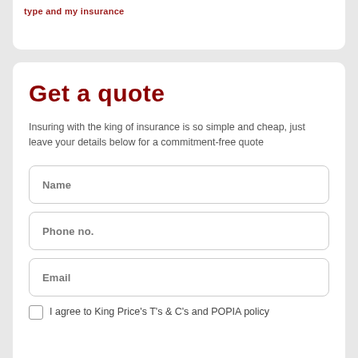type and my insurance
Get a quote
Insuring with the king of insurance is so simple and cheap, just leave your details below for a commitment-free quote
Name
Phone no.
Email
I agree to King Price's T's & C's and POPIA policy